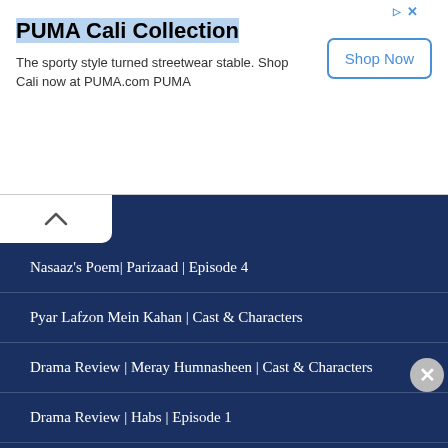[Figure (screenshot): PUMA Cali Collection advertisement banner with Shop Now button]
Nasaaz's Poem| Parizaad | Episode 4
Pyar Lafzon Mein Kahan | Cast & Characters
Drama Review | Meray Humnasheen | Cast & Characters
Drama Review | Habs | Episode 1
Advertisements
[Figure (screenshot): Victoria's Secret advertisement banner - Shop The Collection, Shop Now]